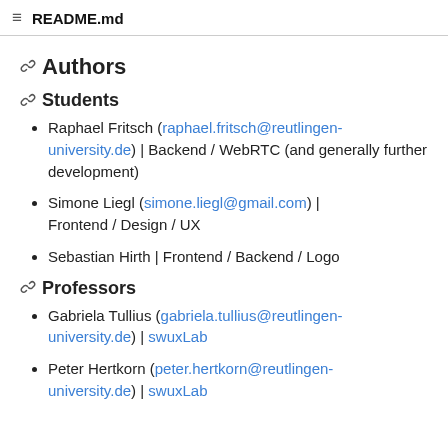README.md
Authors
Students
Raphael Fritsch (raphael.fritsch@reutlingen-university.de) | Backend / WebRTC (and generally further development)
Simone Liegl (simone.liegl@gmail.com) | Frontend / Design / UX
Sebastian Hirth | Frontend / Backend / Logo
Professors
Gabriela Tullius (gabriela.tullius@reutlingen-university.de) | swuxLab
Peter Hertkorn (peter.hertkorn@reutlingen-university.de) | swuxLab